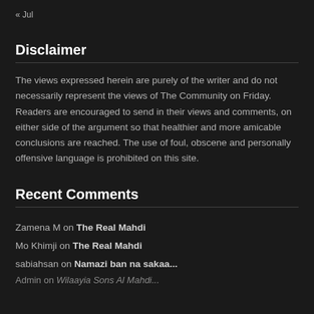« Jul
Disclaimer
The views expressed herein are purely of the writer and do not necessarily represent the views of The Community on Friday. Readers are encouraged to send in their views and comments, on either side of the argument so that healthier and more amicable conclusions are reached. The use of foul, obscene and personally offensive language is prohibited on this site.
Recent Comments
Zamena M on The Real Mahdi
Mo Khimji on The Real Mahdi
sabiahsan on Namazi ban na sakaa...